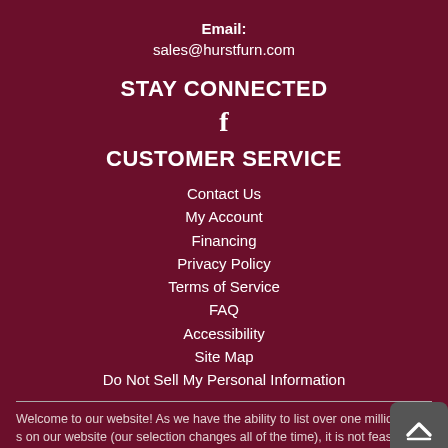Email: sales@hurstfurn.com
STAY CONNECTED
[Figure (illustration): Facebook logo icon (f)]
CUSTOMER SERVICE
Contact Us
My Account
Financing
Privacy Policy
Terms of Service
FAQ
Accessibility
Site Map
Do Not Sell My Personal Information
Welcome to our website! As we have the ability to list over one million items on our website (our selection changes all of the time), it is not feasible for a company our size to record and playback the descriptions on every item on